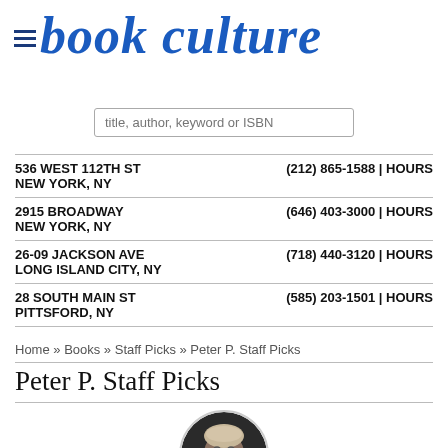book culture
[Figure (other): Search input box with placeholder text: title, author, keyword or ISBN]
| 536 WEST 112TH ST | (212) 865-1588 | HOURS | NEW YORK, NY |
| 2915 BROADWAY | (646) 403-3000 | HOURS | NEW YORK, NY |
| 26-09 JACKSON AVE | (718) 440-3120 | HOURS | LONG ISLAND CITY, NY |
| 28 SOUTH MAIN ST | (585) 203-1501 | HOURS | PITTSFORD, NY |
Home » Books » Staff Picks » Peter P. Staff Picks
Peter P. Staff Picks
[Figure (photo): Circular profile photo of a person with short hair and beard, dark background]